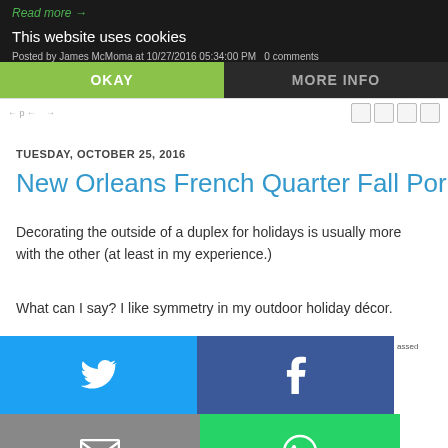Read more →
This website uses cookies
Posted by James McMoma at 10/27/2016 05:34:00 PM   0 comments
OKAY | MORE INFO
TUESDAY, OCTOBER 25, 2016
New Orleans French Quarter Fall Por
Decorating the outside of a duplex for holidays is usually more with the other (at least in my experience.)
What can I say? I like symmetry in my outdoor holiday décor.
[Figure (infographic): Social sharing buttons grid: Twitter (blue), Facebook (dark blue), Email (gray), WhatsApp (green), SMS (blue), ShareThis (green)]